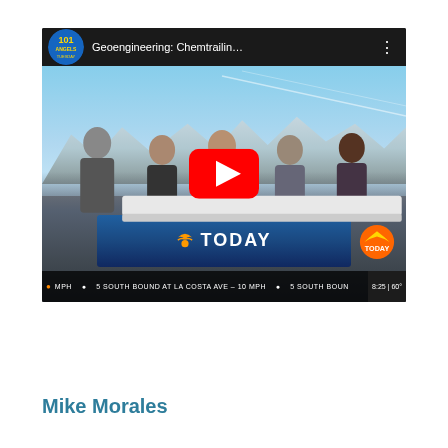[Figure (screenshot): YouTube video thumbnail showing a TODAY show broadcast with the title 'Geoengineering: Chemtrailin...' Five news anchors are seated at the TODAY desk outdoors with snowy mountains in the background. A large red YouTube play button is overlaid in the center. The video bottom shows a news ticker reading '5 SOUTH BOUND AT LA COSTA AVE - 10 MPH' with timestamp '8:25 | 60°'. A TODAY show logo watermark appears in the bottom right corner.]
Mike Morales